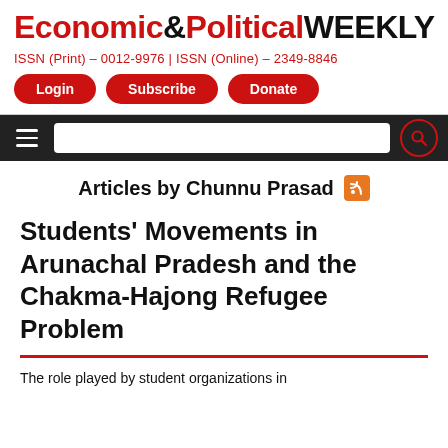Economic&Political WEEKLY
ISSN (Print) – 0012-9976 | ISSN (Online) – 2349-8846
Login
Subscribe
Donate
Articles by Chunnu Prasad
Students' Movements in Arunachal Pradesh and the Chakma-Hajong Refugee Problem
The role played by student organizations in